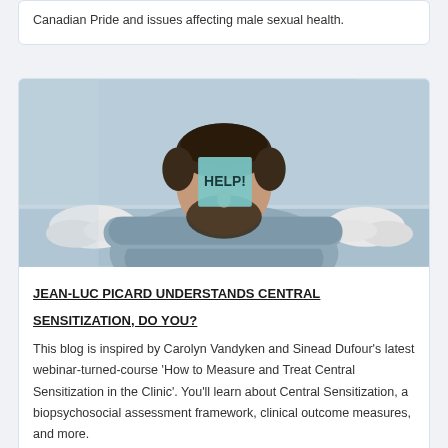Canadian Pride and issues affecting male sexual health.
[Figure (photo): A stressed man resting his head on a desk with glasses and crumpled papers in front of him, with a sticky note on his forehead reading 'HELP!']
JEAN-LUC PICARD UNDERSTANDS CENTRAL SENSITIZATION, DO YOU?
This blog is inspired by Carolyn Vandyken and Sinead Dufour's latest webinar-turned-course 'How to Measure and Treat Central Sensitization in the Clinic'. You'll learn about Central Sensitization, a biopsychosocial assessment framework, clinical outcome measures, and more.